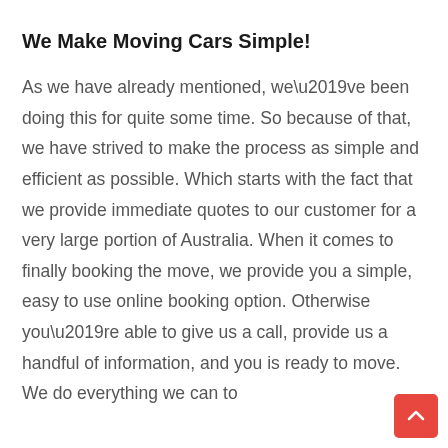We Make Moving Cars Simple!
As we have already mentioned, we’ve been doing this for quite some time. So because of that, we have strived to make the process as simple and efficient as possible. Which starts with the fact that we provide immediate quotes to our customer for a very large portion of Australia. When it comes to finally booking the move, we provide you a simple, easy to use online booking option. Otherwise you’re able to give us a call, provide us a handful of information, and you is ready to move. We do everything we can to